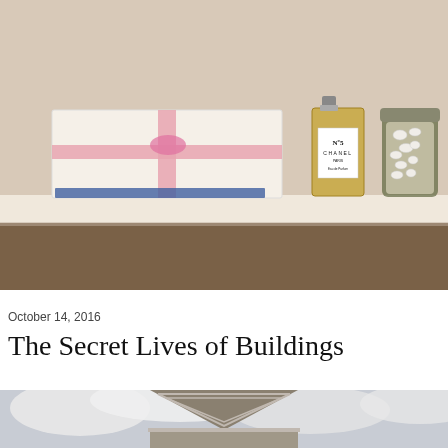[Figure (photo): A shelf with a pink-ribbon gift box, a Chanel No. 5 perfume bottle, and a glass jar filled with white buttons, against a beige wall and dark brown lower wall.]
October 14, 2016
The Secret Lives of Buildings
[Figure (photo): Bottom portion of a building rooftop with a peaked gable/pediment against a cloudy sky.]